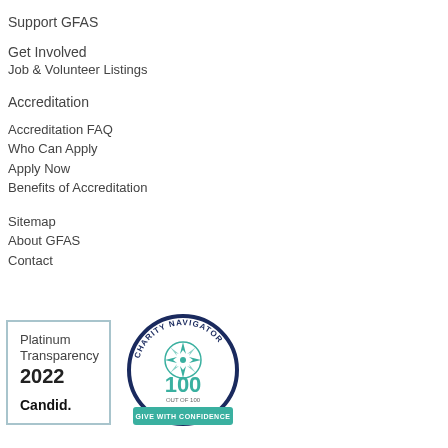Support GFAS
Get Involved
Job & Volunteer Listings
Accreditation
Accreditation FAQ
Who Can Apply
Apply Now
Benefits of Accreditation
Sitemap
About GFAS
Contact
[Figure (logo): Platinum Transparency 2022 Candid badge (blue border, white background)]
[Figure (logo): Charity Navigator 100 out of 100 Give with Confidence badge (navy circle with teal compass, green banner)]